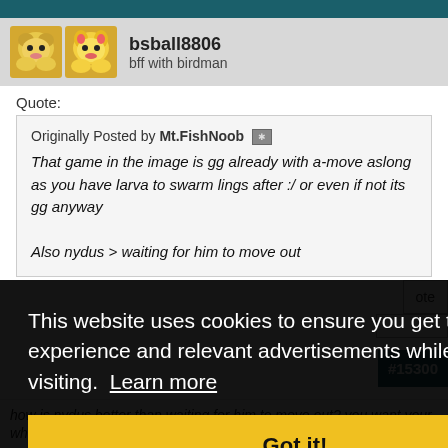bsball8806
bff with birdman
Quote:
Originally Posted by Mt.FishNoob
That game in the image is gg already with a-move aslong as you have larva to swarm lings after :/ or even if not its gg anyway

Also nydus > waiting for him to move out
This website uses cookies to ensure you get the best experience and relevant advertisements while visiting. Learn more
Got it!
#15300
how is nydus better than waiting for him to move out? you want your whole army back in your half the map, hoping he